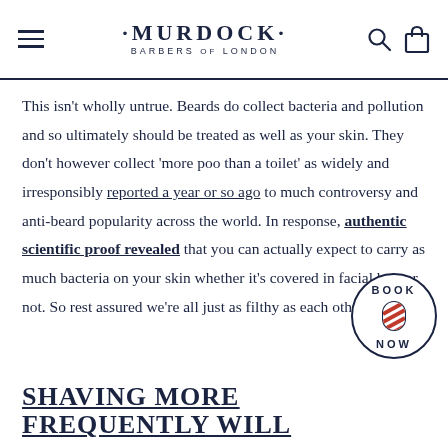·MURDOCK· BARBERS OF LONDON
This isn't wholly untrue. Beards do collect bacteria and pollution and so ultimately should be treated as well as your skin. They don't however collect 'more poo than a toilet' as widely and irresponsibly reported a year or so ago to much controversy and anti-beard popularity across the world. In response, authentic scientific proof revealed that you can actually expect to carry as much bacteria on your skin whether it's covered in facial hair or not. So rest assured we're all just as filthy as each other.
[Figure (logo): Circular Book Now badge with barber pole icon]
SHAVING MORE FREQUENTLY WILL